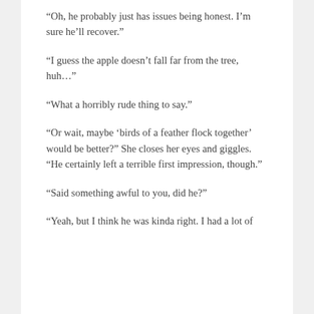“Oh, he probably just has issues being honest. I’m sure he’ll recover.”
“I guess the apple doesn’t fall far from the tree, huh…”
“What a horribly rude thing to say.”
“Or wait, maybe ‘birds of a feather flock together’ would be better?” She closes her eyes and giggles. “He certainly left a terrible first impression, though.”
“Said something awful to you, did he?”
“Yeah, but I think he was kinda right. I had a lot of